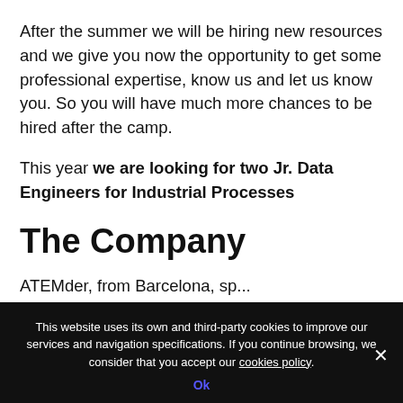After the summer we will be hiring new resources and we give you now the opportunity to get some professional expertise, know us and let us know you. So you will have much more chances to be hired after the camp.
This year we are looking for two Jr. Data Engineers for Industrial Processes
The Company
[partial text cut off at bottom]
This website uses its own and third-party cookies to improve our services and navigation specifications. If you continue browsing, we consider that you accept our cookies policy.
Ok